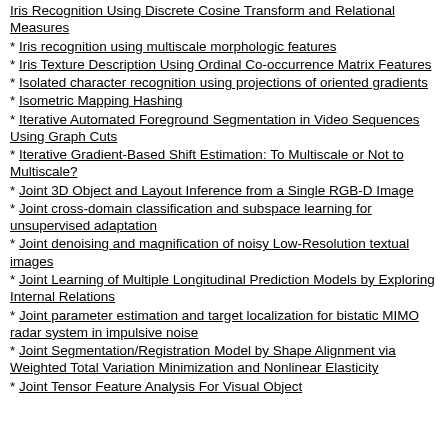Iris Recognition Using Discrete Cosine Transform and Relational Measures
Iris recognition using multiscale morphologic features
Iris Texture Description Using Ordinal Co-occurrence Matrix Features
Isolated character recognition using projections of oriented gradients
Isometric Mapping Hashing
Iterative Automated Foreground Segmentation in Video Sequences Using Graph Cuts
Iterative Gradient-Based Shift Estimation: To Multiscale or Not to Multiscale?
Joint 3D Object and Layout Inference from a Single RGB-D Image
Joint cross-domain classification and subspace learning for unsupervised adaptation
Joint denoising and magnification of noisy Low-Resolution textual images
Joint Learning of Multiple Longitudinal Prediction Models by Exploring Internal Relations
Joint parameter estimation and target localization for bistatic MIMO radar system in impulsive noise
Joint Segmentation/Registration Model by Shape Alignment via Weighted Total Variation Minimization and Nonlinear Elasticity
Joint Tensor Feature Analysis For Visual Object...